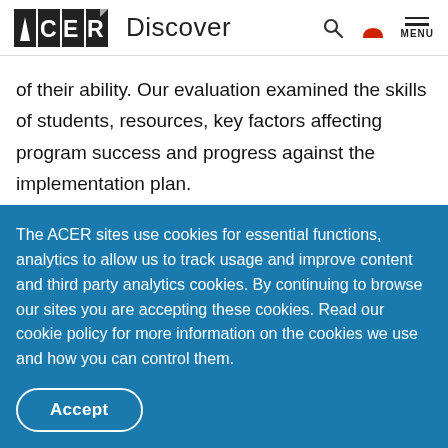ACER Discover
of their ability. Our evaluation examined the skills of students, resources, key factors affecting program success and progress against the implementation plan.
Improving girls' education
The ACER sites use cookies for essential functions, analytics to allow us to track usage and improve content and third party analytics cookies. By continuing to browse our sites you are accepting these cookies. Read our cookie policy for more information on the cookies we use and how you can control them.
Accept